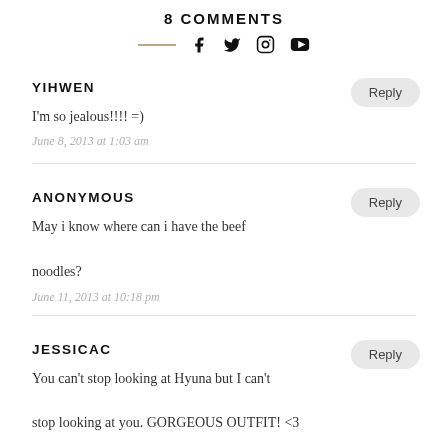8 COMMENTS
I'm so jealous!!!! =)
June 8, 2013 at 1:03 am
May i know where can i have the beef noodles?
June 11, 2013 at 10:18 pm
You can't stop looking at Hyuna but I can't stop looking at you. GORGEOUS OUTFIT! <3
YIHWEN
ANONYMOUS
JESSICAC